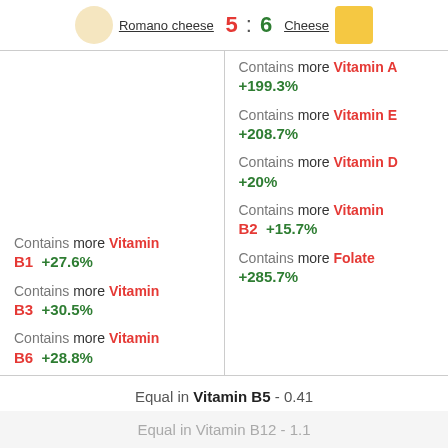Romano cheese 5 : 6 Cheese
Contains more Vitamin A +199.3%
Contains more Vitamin E +208.7%
Contains more Vitamin B1 +27.6%
Contains more Vitamin D +20%
Contains more Vitamin B3 +30.5%
Contains more Vitamin B2 +15.7%
Contains more Vitamin B6 +28.8%
Contains more Folate +285.7%
Equal in Vitamin B5 - 0.41
Equal in Vitamin B12 - 1.1